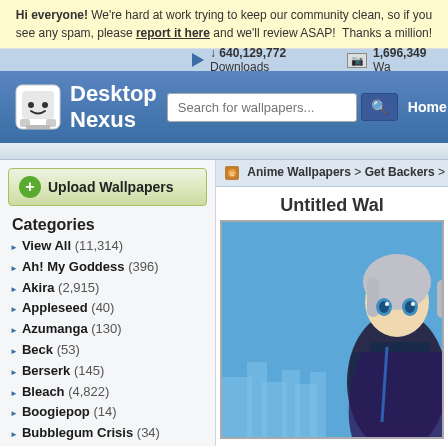Hi everyone! We're hard at work trying to keep our community clean, so if you see any spam, please report it here and we'll review ASAP! Thanks a million!
640,129,772 Downloads   1,696,349 Wa...
[Figure (screenshot): Desktop Nexus logo — white cartoon bear/ghost mascot with smiley face]
Desktop Nexus
Search for wallpapers...
Home
Upload Wallpapers
Anime Wallpapers > Get Backers > Un...
Categories
View All (11,314)
Ah! My Goddess (396)
Akira (2,915)
Appleseed (40)
Azumanga (130)
Beck (53)
Berserk (145)
Bleach (4,822)
Boogiepop (14)
Bubblegum Crisis (34)
Burst Angel (103)
Card Captor Sakura (736)
Chobits (406)
Chrono Crusade (61)
Untitled Wal...
[Figure (illustration): Anime character with grey hair and blue eyes wearing a dark uniform, against a light blue background with city silhouette]